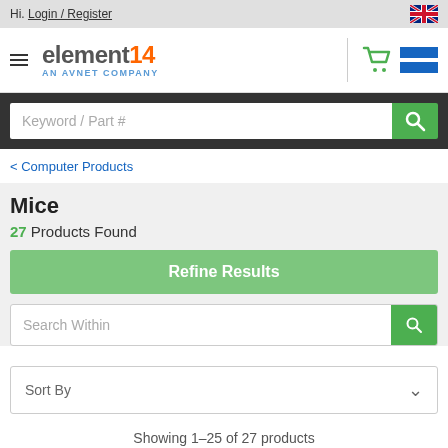Hi. Login / Register
[Figure (logo): element14 AN AVNET COMPANY logo with hamburger menu, cart icon, and navigation lines]
Keyword / Part #
< Computer Products
Mice
27 Products Found
Refine Results
Search Within
Sort By
Showing 1–25 of 27 products